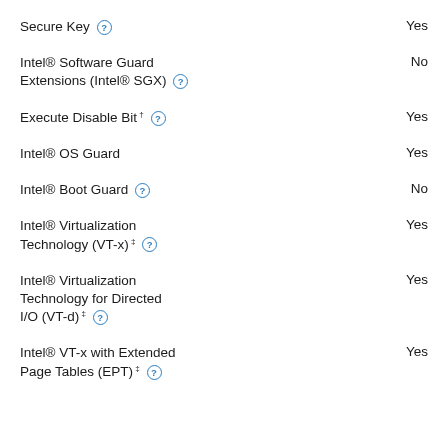Secure Key  Yes
Intel® Software Guard Extensions (Intel® SGX)  No
Execute Disable Bit †  Yes
Intel® OS Guard  Yes
Intel® Boot Guard  No
Intel® Virtualization Technology (VT-x) ‡  Yes
Intel® Virtualization Technology for Directed I/O (VT-d) ‡  Yes
Intel® VT-x with Extended Page Tables (EPT) ‡  Yes